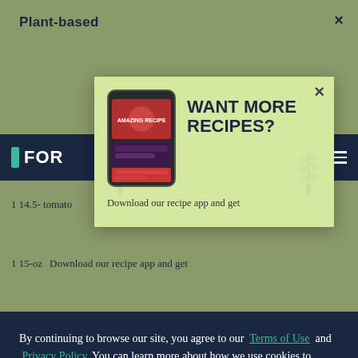Plant-based
1 14.5- tomato
1 15-oz
[Figure (screenshot): Recipe app modal popup with light green background showing phone screenshot and text 'WANT MORE RECIPES?'. Below modal is dark navy cookie consent bar with text about Terms of Use and Privacy Policy, a 'Do Not Sell My Personal Information' link, and an 'Accept Cookies' button.]
By continuing to browse our site, you agree to our Terms of Use and Privacy Policy. You can learn more about how we use cookies to improve your experience here
Do Not Sell My Personal Information
Accept Cookies